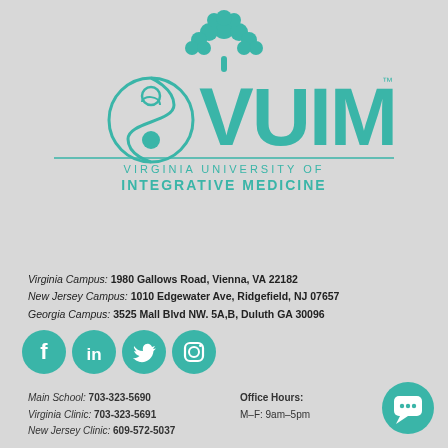[Figure (logo): VUIM logo with tree and yin-yang symbol, teal color, with full name Virginia University of Integrative Medicine]
Virginia Campus: 1980 Gallows Road, Vienna, VA 22182
New Jersey Campus: 1010 Edgewater Ave, Ridgefield, NJ 07657
Georgia Campus: 3525 Mall Blvd NW. 5A,B, Duluth GA 30096
[Figure (infographic): Social media icons: Facebook, LinkedIn, Twitter, Instagram — teal colored circles]
Main School: 703-323-5690
Virginia Clinic: 703-323-5691
New Jersey Clinic: 609-572-5037
Office Hours:
M–F: 9am–5pm